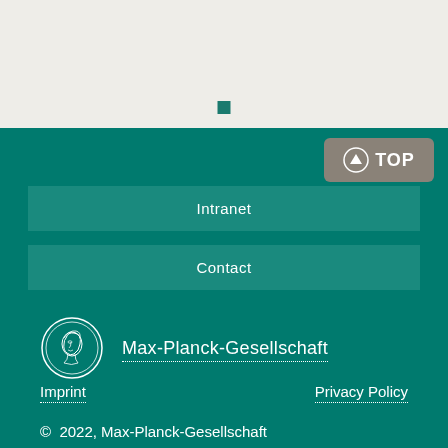[Figure (other): Light gray background section with a small dark teal green square centered near the bottom]
Intranet
Contact
[Figure (logo): Max-Planck-Gesellschaft circular medallion logo with classical figure profile]
Max-Planck-Gesellschaft
Imprint
Privacy Policy
© 2022, Max-Planck-Gesellschaft